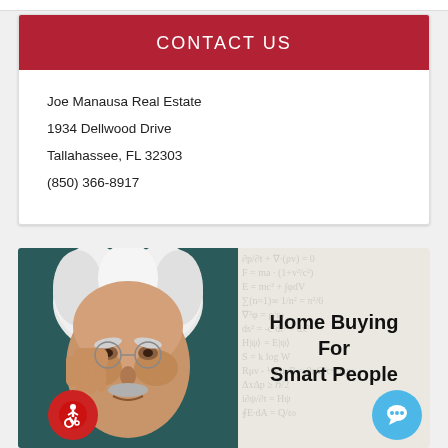CONTACT US
Joe Manausa Real Estate
1934 Dellwood Drive
Tallahassee, FL 32303
(850) 366-8917
[Figure (illustration): Book cover showing Einstein thinking with hand on temple (left side) next to text 'Home Buying For Smart People' on math equation background (right side). Accessibility icon bottom-left, chat icon bottom-right.]